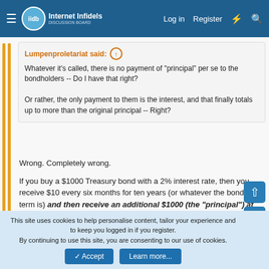Internet Infidels — Log in  Register
Lumpenproletariat said: ↑
Whatever it's called, there is no payment of "principal" per se to the bondholders -- Do I have that right?

Or rather, the only payment to them is the interest, and that finally totals up to more than the original principal -- Right?
Wrong. Completely wrong.

If you buy a $1000 Treasury bond with a 2% interest rate, then you receive $10 every six months for ten years (or whatever the bond's term is) and then receive an additional $1000 (the "principal") at the end of the ten years. (If you buy the "inflation-protected bond" offered by Treasury you receive more than $1000 at the end of the term.)
This site uses cookies to help personalise content, tailor your experience and to keep you logged in if you register.
By continuing to use this site, you are consenting to our use of cookies.